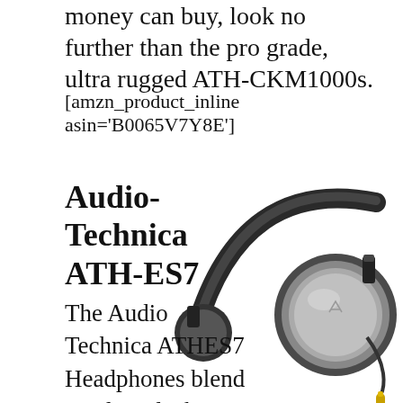money can buy, look no further than the pro grade, ultra rugged ATH-CKM1000s.
[amzn_product_inline asin='B0065V7Y8E']
Audio-Technica ATH-ES7
The Audio Technica ATHES7 Headphones blend an ultra-sleek contemporary
[Figure (photo): Audio-Technica ATH-ES7 over-ear headphones, black with silver ear cups, shown from the side with a gold-tipped cable visible at the bottom right.]